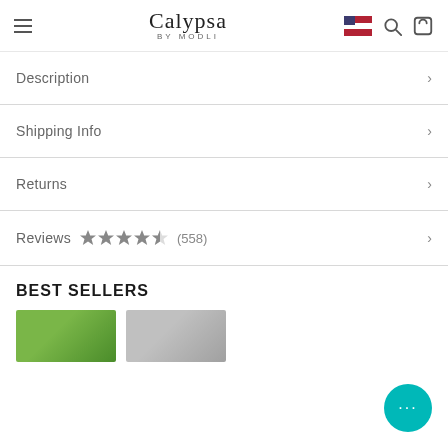Calypsa BY MODLI
Description
Shipping Info
Returns
Reviews ★★★★½ (558)
BEST SELLERS
[Figure (photo): Green outdoor background product thumbnail]
[Figure (photo): Gray background product thumbnail]